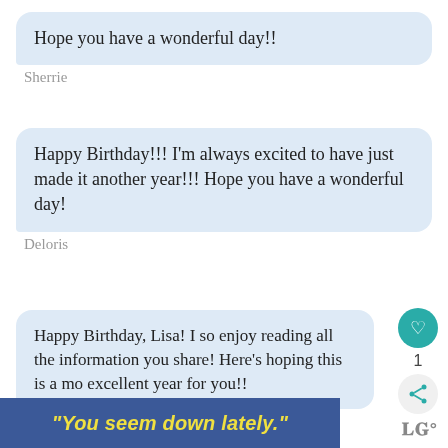Hope you have a wonderful day!!
Sherrie
Happy Birthday!!! I'm always excited to have just made it another year!!! Hope you have a wonderful day!
Deloris
Happy Birthday, Lisa! I so enjoy reading all the information you share! Here's hoping this is a mo excellent year for you!!
"You seem down lately."